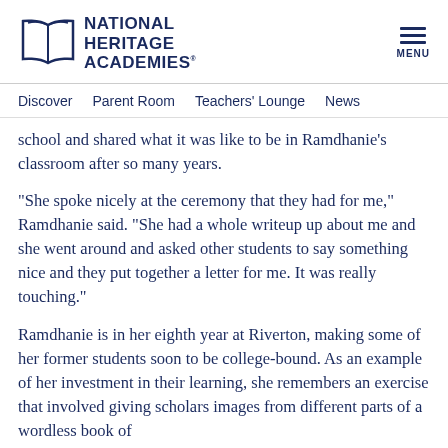National Heritage Academies
Discover  Parent Room  Teachers' Lounge  News
school and shared what it was like to be in Ramdhanie’s classroom after so many years.
“She spoke nicely at the ceremony that they had for me,” Ramdhanie said. “She had a whole writeup up about me and she went around and asked other students to say something nice and they put together a letter for me. It was really touching.”
Ramdhanie is in her eighth year at Riverton, making some of her former students soon to be college-bound. As an example of her investment in their learning, she remembers an exercise that involved giving scholars images from different parts of a wordless book of